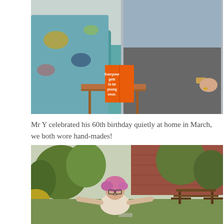[Figure (photo): Two people sitting on a teal sofa with colourful patterned cushions/clothing. An orange birthday card on a wooden side table reads 'Everyone gets to be young once.']
Mr Y celebrated his 60th birthday quietly at home in March, we both wore hand-mades!
[Figure (photo): A woman with pink hair and glasses in a cream lace top standing with arms outstretched in a garden, with brick building, trees, and wooden bench furniture visible behind her.]